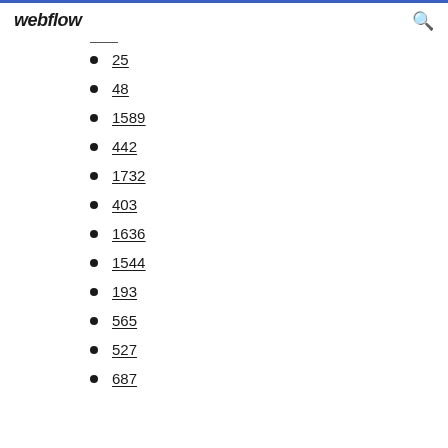webflow
25
48
1589
442
1732
403
1636
1544
193
565
527
687